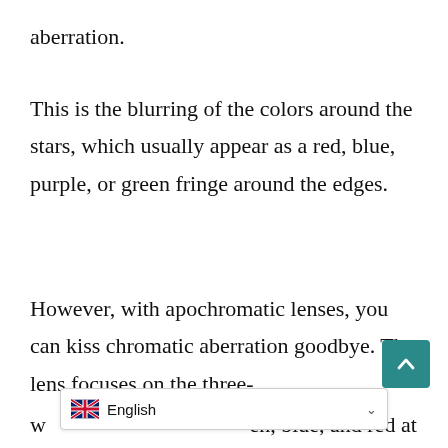aberration.
This is the blurring of the colors around the stars, which usually appear as a red, blue, purple, or green fringe around the edges.
However, with apochromatic lenses, you can kiss chromatic aberration goodbye. The lens focuses on the three-
w… en, blue, and red at